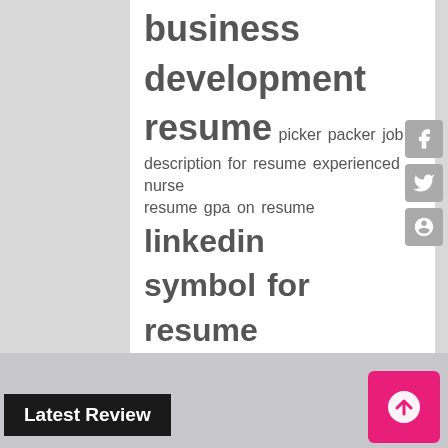[Figure (infographic): Tag cloud with resume-related keyword phrases in varying font sizes, displayed on a white background panel]
business development resume picker packer job description for resume experienced nurse resume gpa on resume linkedin symbol for resume resume objective for medical assistant student front office coordinator resume internshala resume resume on the go sample subject for sending resume logistics skills on resume technical team lead resume sample office assistant duties responsibilities resume resume for someone out of high school resume genius cost
Latest Review